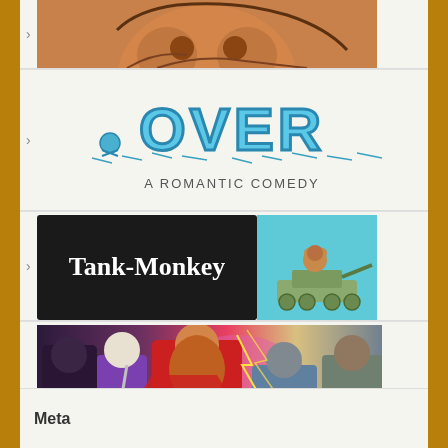[Figure (illustration): Partial comic illustration showing an orange-toned character face (top of page, cropped)]
[Figure (illustration): OVER - A Romantic Comedy comic logo in blue bubble letters with skull and crossbones, subtitle 'A Romantic Comedy']
[Figure (illustration): Tank-Monkey comic banner: black background with white text 'Tank-Monkey' and cartoon monkey on a tank on the right]
[Figure (illustration): Comic artwork showing group of fantasy/superhero characters including a woman in red costume, wizard, and armored figures]
[Figure (illustration): The Odd Monsters comic banner with cartoon monster characters and green bubble letter logo]
Meta